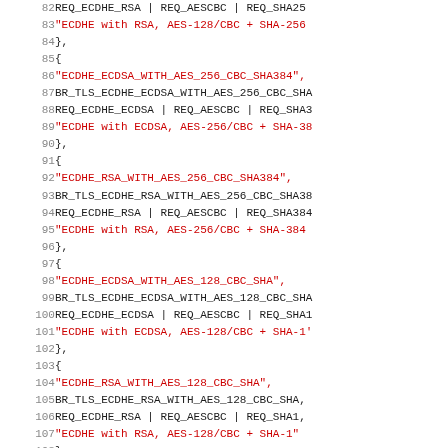Source code listing showing TLS cipher suite definitions in C, lines 82-114, with string identifiers, constants, requirement flags, and description strings.